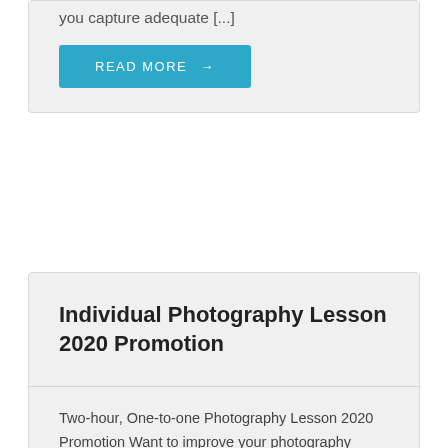you capture adequate [...]
READ MORE →
Individual Photography Lesson 2020 Promotion
Two-hour, One-to-one Photography Lesson 2020 Promotion Want to improve your photography immediately and learn the techniques & secrets that the professionals use?  Searching for a fun hobby for you or your kids during current Covid environment?  This two-hour, socially-distanced lesson is for photographers of all levels.  We take all the proper measures to ensure a [...]
READ MORE →